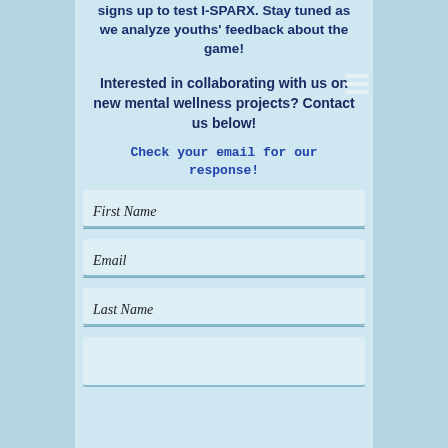signs up to test I-SPARX. Stay tuned as we analyze youths' feedback about the game!
Interested in collaborating with us on new mental wellness projects? Contact us below!
Check your email for our response!
First Name
Email
Last Name